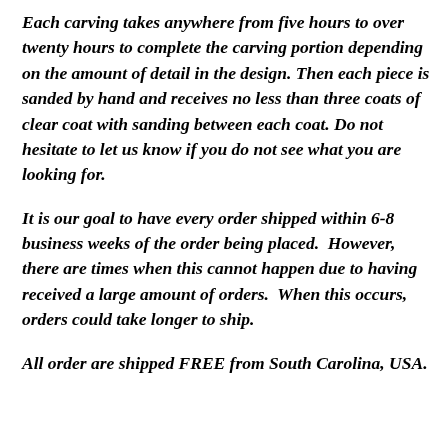Each carving takes anywhere from five hours to over twenty hours to complete the carving portion depending on the amount of detail in the design. Then each piece is sanded by hand and receives no less than three coats of clear coat with sanding between each coat. Do not hesitate to let us know if you do not see what you are looking for.
It is our goal to have every order shipped within 6-8 business weeks of the order being placed.  However, there are times when this cannot happen due to having received a large amount of orders.  When this occurs, orders could take longer to ship.
All order are shipped FREE from South Carolina, USA.